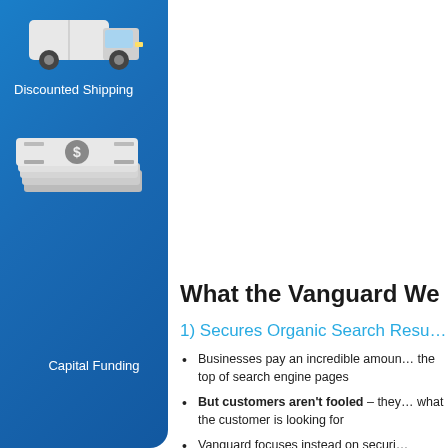[Figure (illustration): Delivery truck icon on blue gradient panel]
Discounted Shipping
[Figure (illustration): Stack of dollar bills / money icon on blue gradient panel]
Capital Funding
What the Vanguard We…
1) Secures Organic Search Resu…
Businesses pay an incredible amoun… the top of search engine pages
But customers aren't fooled – they… what the customer is looking for
Vanguard focuses instead on securi… results – positioning your business…